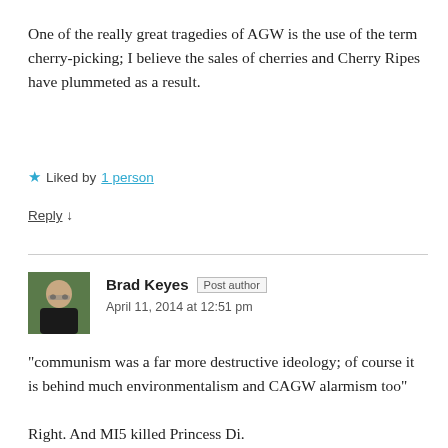One of the really great tragedies of AGW is the use of the term cherry-picking; I believe the sales of cherries and Cherry Ripes have plummeted as a result.
★ Liked by 1 person
Reply ↓
Brad Keyes Post author
April 11, 2014 at 12:51 pm
“communism was a far more destructive ideology; of course it is behind much environmentalism and CAGW alarmism too”

Right. And MI5 killed Princess Di.